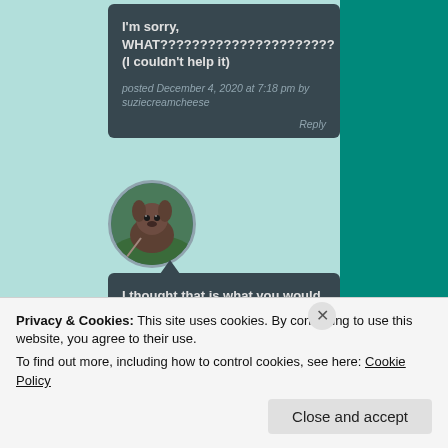I'm sorry, WHAT?????????????????????? (I couldn't help it)
posted December 4, 2020 at 7:18 pm by suziecreamcheese Reply
[Figure (photo): Circular avatar photo of a dog outdoors]
I thought that is what you would look like as a dinosaur.
posted December 5, 2020 at 3:23 am by Marsha Gay Reply
Privacy & Cookies: This site uses cookies. By continuing to use this website, you agree to their use.
To find out more, including how to control cookies, see here: Cookie Policy
Close and accept